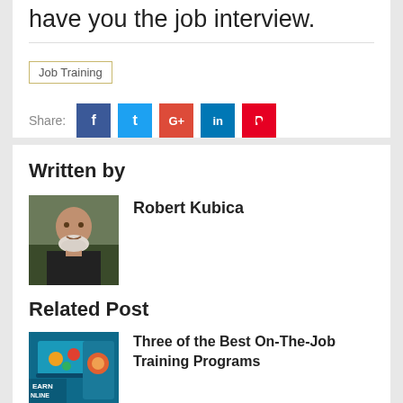have you the job interview.
Job Training
Share:
Written by
Robert Kubica
[Figure (photo): Photo of Robert Kubica, a middle-aged man with a white beard wearing a black turtleneck, smiling outdoors.]
Related Post
[Figure (screenshot): Thumbnail image for online job training article, showing a laptop and digital learning icons with text 'EARN ONLINE'.]
Three of the Best On-The-Job Training Programs